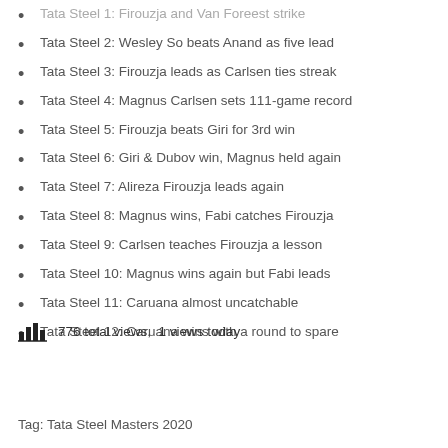Tata Steel 1: Firouzja and Van Foreest strike
Tata Steel 2: Wesley So beats Anand as five lead
Tata Steel 3: Firouzja leads as Carlsen ties streak
Tata Steel 4: Magnus Carlsen sets 111-game record
Tata Steel 5: Firouzja beats Giri for 3rd win
Tata Steel 6: Giri & Dubov win, Magnus held again
Tata Steel 7: Alireza Firouzja leads again
Tata Steel 8: Magnus wins, Fabi catches Firouzja
Tata Steel 9: Carlsen teaches Firouzja a lesson
Tata Steel 10: Magnus wins again but Fabi leads
Tata Steel 11: Caruana almost uncatchable
Tata Steel 12: Caruana wins with a round to spare
776 total views,  1 views today
Tag: Tata Steel Masters 2020